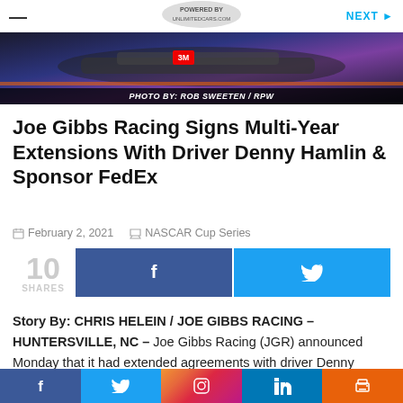NEXT ▶
[Figure (photo): Racing car photo with caption PHOTO BY: ROB SWEETEN / RPW]
PHOTO BY: ROB SWEETEN / RPW
Joe Gibbs Racing Signs Multi-Year Extensions With Driver Denny Hamlin & Sponsor FedEx
February 2, 2021   NASCAR Cup Series
10 SHARES
Story By: CHRIS HELEIN / JOE GIBBS RACING – HUNTERSVILLE, NC – Joe Gibbs Racing (JGR) announced Monday that it had extended agreements with driver Denny Hamlin and long-time sponsor FedEx
Facebook Twitter Instagram LinkedIn Print